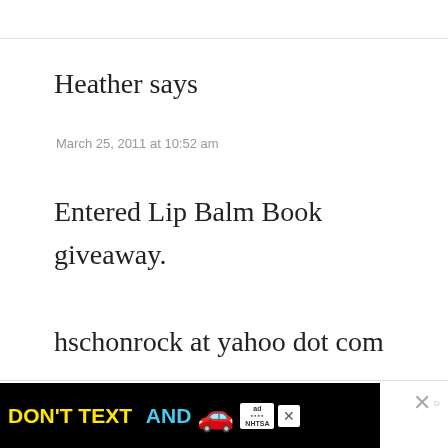Heather says
March 25, 2011 at 10:52 am
Entered Lip Balm Book giveaway.

hschonrock at yahoo dot com
[Figure (other): Advertisement banner: DON'T TEXT AND [car emoji] ad NHTSA logo, with close buttons]